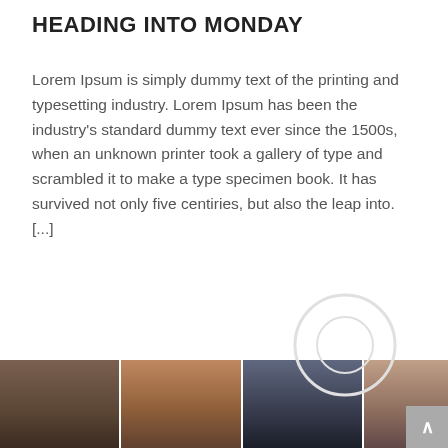HEADING INTO MONDAY
Lorem Ipsum is simply dummy text of the printing and typesetting industry. Lorem Ipsum has been the industry's standard dummy text ever since the 1500s, when an unknown printer took a gallery of type and scrambled it to make a type specimen book. It has survived not only five centiries, but also the leap into. [...]
[Figure (other): Green 'Read More >' button]
[Figure (photo): Bottom strip showing multiple people in a professional/business setting]